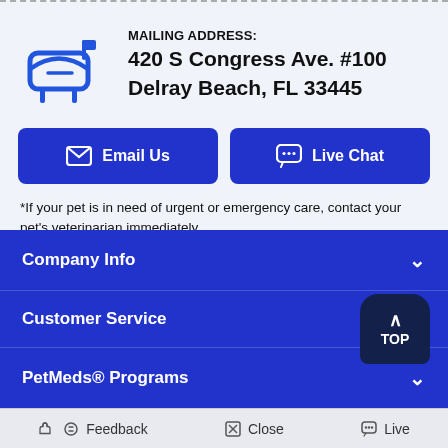[Figure (illustration): Blue mailbox icon]
MAILING ADDRESS:
420 S Congress Ave. #100
Delray Beach, FL 33445
[Figure (infographic): Email Us button (blue rounded rectangle with envelope icon)]
[Figure (infographic): Live Chat button (blue rounded rectangle with chat icon)]
*If your pet is in need of urgent or emergency care, contact your pet's veterinarian immediately.
Company Info
Customer Service
PetMeds® Programs
Feedback   Close   Live